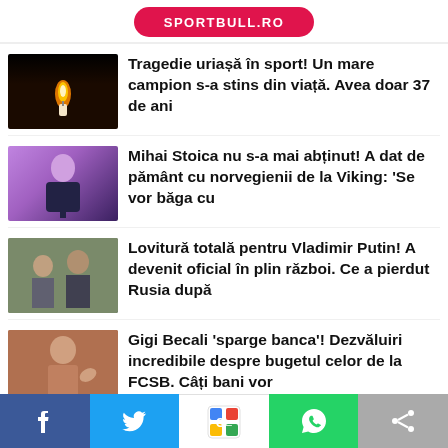SPORTBULL.RO
Tragedie uriașă în sport! Un mare campion s-a stins din viață. Avea doar 37 de ani
Mihai Stoica nu s-a mai abținut! A dat de pământ cu norvegienii de la Viking: 'Se vor băga cu
Lovitură totală pentru Vladimir Putin! A devenit oficial în plin război. Ce a pierdut Rusia după
Gigi Becali 'sparge banca'! Dezvăluiri incredibile despre bugetul celor de la FCSB. Câți bani vor
BUGETUL.RO